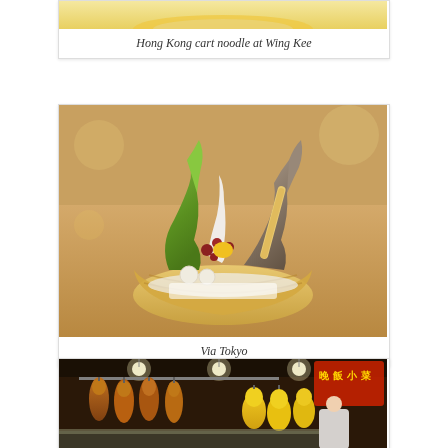[Figure (photo): Partial view of Hong Kong cart noodle dish at Wing Kee, showing top portion of a yellow/cream colored bowl]
Hong Kong cart noodle at Wing Kee
[Figure (photo): Colorful soft-serve ice cream dessert in a waffle bowl at Via Tokyo, featuring green matcha and grey sesame swirls with toppings including mochi balls, red beans, and a wafer stick]
Via Tokyo
[Figure (photo): Chinese market stall with hanging roasted ducks and poultry displayed in a brightly lit shop with Chinese signage]